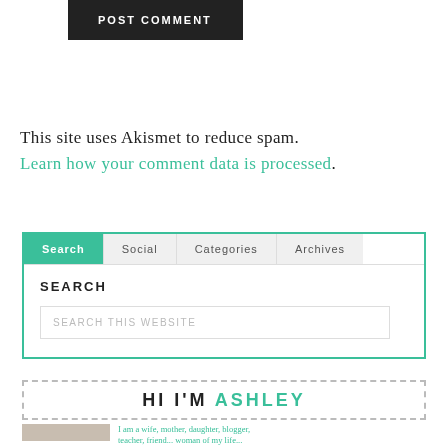[Figure (screenshot): POST COMMENT button — black background, white uppercase letters]
This site uses Akismet to reduce spam. Learn how your comment data is processed.
[Figure (screenshot): Widget box with tabs: Search (active, teal), Social, Categories, Archives. Search tab content shows SEARCH heading and SEARCH THIS WEBSITE input field.]
[Figure (screenshot): HI I'M ASHLEY banner in dashed border box. HI I'M in black, ASHLEY in teal. Below: photo of Ashley and bio text starting 'I am a wife, mother, daughter, blogger, teacher, friend... woman of my life...']